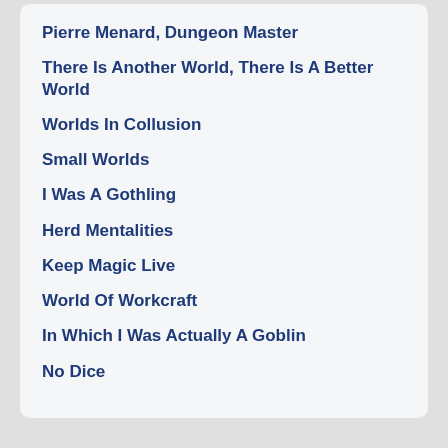Pierre Menard, Dungeon Master
There Is Another World, There Is A Better World
Worlds In Collusion
Small Worlds
I Was A Gothling
Herd Mentalities
Keep Magic Live
World Of Workcraft
In Which I Was Actually A Goblin
No Dice